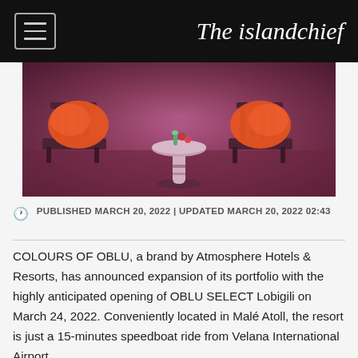The islandchief
[Figure (photo): A dimly lit outdoor seating area with orange cushioned chairs and a round white pedestal side table with drinks/fruit on top, purple/mauve ambient lighting.]
PUBLISHED MARCH 20, 2022 | UPDATED MARCH 20, 2022 02:43
COLOURS OF OBLU, a brand by Atmosphere Hotels & Resorts, has announced expansion of its portfolio with the highly anticipated opening of OBLU SELECT Lobigili on March 24, 2022. Conveniently located in Malé Atoll, the resort is just a 15-minutes speedboat ride from Velana International Airport.
In the Maldivian language of Dhivehi, 'Lobi' means love